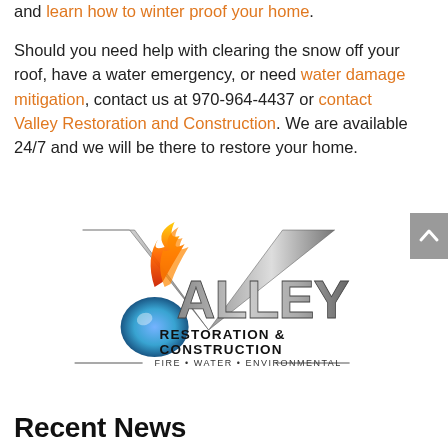and learn how to winter proof your home.
Should you need help with clearing the snow off your roof, have a water emergency, or need water damage mitigation, contact us at 970-964-4437 or contact Valley Restoration and Construction. We are available 24/7 and we will be there to restore your home.
[Figure (logo): Valley Restoration & Construction logo with flame and water droplet motif. Text reads VALLEY RESTORATION & CONSTRUCTION — FIRE • WATER • ENVIRONMENTAL —]
Recent News